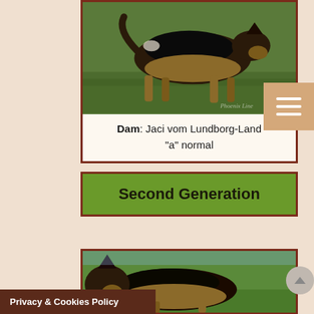[Figure (photo): German Shepherd dog photographed outdoors on green grass, side profile view, black and tan coloring]
Dam: Jaci vom Lundborg-Land "a" normal
Second Generation
[Figure (photo): German Shepherd dog photographed outdoors on green grass, partially visible, black and tan coloring]
Privacy & Cookies Policy